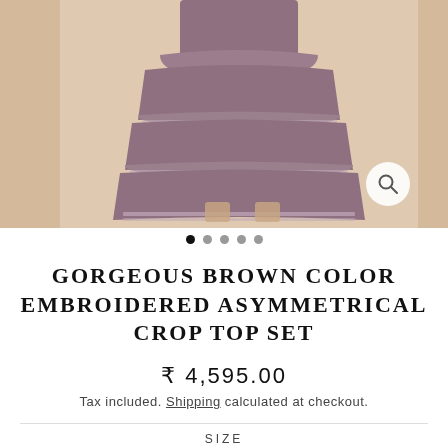[Figure (photo): Fashion product photo showing a mauve/brown layered asymmetrical skirt set worn by a model, with a beige background. A magnifying glass icon appears in the bottom right. Image carousel with 5 dots below the image.]
GORGEOUS BROWN COLOR EMBROIDERED ASYMMETRICAL CROP TOP SET
₹ 4,595.00
Tax included. Shipping calculated at checkout.
SIZE